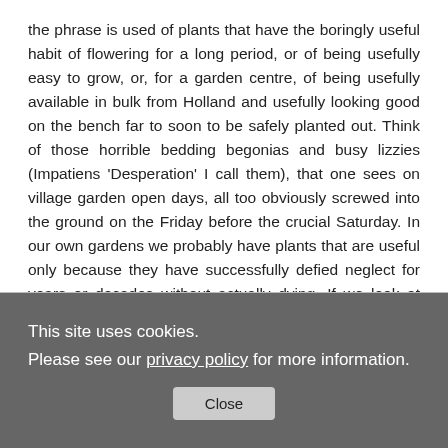the phrase is used of plants that have the boringly useful habit of flowering for a long period, or of being usefully easy to grow, or, for a garden centre, of being usefully available in bulk from Holland and usefully looking good on the bench far to soon to be safely planted out. Think of those horrible bedding begonias and busy lizzies (Impatiens 'Desperation' I call them), that one sees on village garden open days, all too obviously screwed into the ground on the Friday before the crucial Saturday. In our own gardens we probably have plants that are useful only because they have successfully defied neglect for years or decades without actually dying. If we look at them honestly, we will see that they give little pleasure and occupy valuable space.
This site uses cookies. Please see our privacy policy for more information.